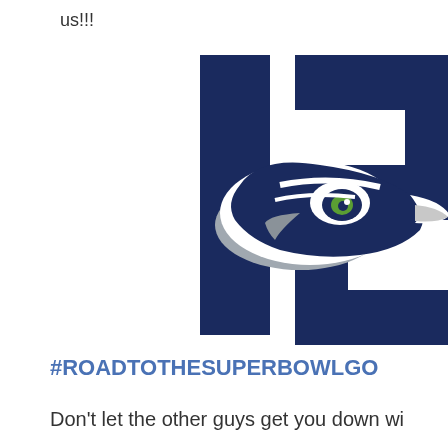us!!!
[Figure (illustration): Seattle Seahawks '12th Man' logo — large dark navy numeral '12' with the Seahawks bird head logo (hawk face with green eye, white outlines, grey beak area) overlaid on top, partially cropped on the right side.]
#ROADTOTHESUPERBOWLGO
Don't let the other guys get you down wi